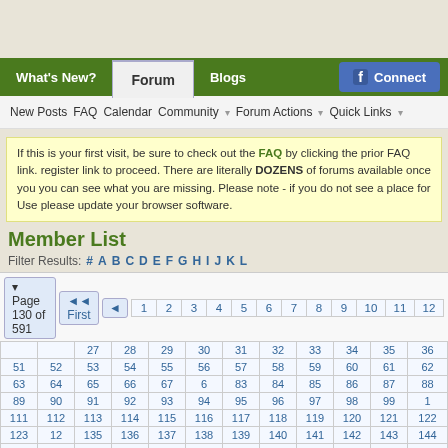Navigation bar with What's New?, Forum, Blogs, Connect
If this is your first visit, be sure to check out the FAQ by clicking the prior FAQ link. register link to proceed. There are literally DOZENS of forums available once you you can see what you are missing. Please note - if you do not see a place for Use please update your browser software.
Member List
Filter Results: # A B C D E F G H I J K L
| 1 | 2 | 3 | 4 | 5 | 6 | 7 | 8 | 9 | 10 | 11 | 12 |
| 27 | 28 | 29 | 30 | 31 | 32 | 33 | 34 | 35 | 36 |
| 51 | 52 | 53 | 54 | 55 | 56 | 57 | 58 | 59 | 60 | 61 | 62 | 63 | 64 | 65 | 66 | 67 | 6 |
| 83 | 84 | 85 | 86 | 87 | 88 | 89 | 90 | 91 | 92 | 93 | 94 | 95 | 96 | 97 | 98 | 99 | 1 |
| 111 | 112 | 113 | 114 | 115 | 116 | 117 | 118 | 119 | 120 | 121 | 122 | 123 | 12 |
| 135 | 136 | 137 | 138 | 139 | 140 | 141 | 142 | 143 | 144 | 145 | 146 | 147 | 14 |
| 159 | 160 | 161 | 162 | 163 | 164 | 165 | 166 | 167 | 168 | 169 | 170 | 171 |